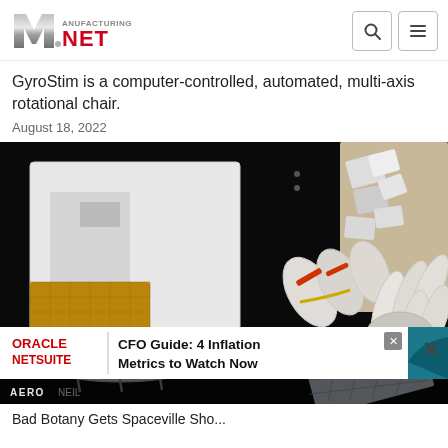Manufacturing.NET
GyroStim is a computer-controlled, automated, multi-axis rotational chair.
August 18, 2022
[Figure (photo): Space station exterior photograph showing a cosmonaut performing a spacewalk, with white module panels, equipment boxes, and a robotic arm visible against a black space background. An astronaut glove/hand piece is prominent in the foreground. Solar panels visible at lower right. 'AERO' label visible in bottom left corner.]
ORACLE NETSUITE | CFO Guide: 4 Inflation Metrics to Watch Now
Bad Botany Gets Spaceville Sho...